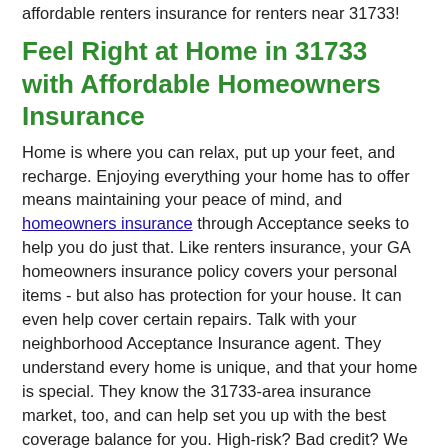affordable renters insurance for renters near 31733!
Feel Right at Home in 31733 with Affordable Homeowners Insurance
Home is where you can relax, put up your feet, and recharge. Enjoying everything your home has to offer means maintaining your peace of mind, and homeowners insurance through Acceptance seeks to help you do just that. Like renters insurance, your GA homeowners insurance policy covers your personal items - but also has protection for your house. It can even help cover certain repairs. Talk with your neighborhood Acceptance Insurance agent. They understand every home is unique, and that your home is special. They know the 31733-area insurance market, too, and can help set you up with the best coverage balance for you. High-risk? Bad credit? We promise we'll work to get you the right home insurance policy that meets your needs and your budget.
Insurance for Your Business Near 31733
From small biz to side gig, you need Chula-area business insurance if you're in charge. Chat with a friendly Acceptance